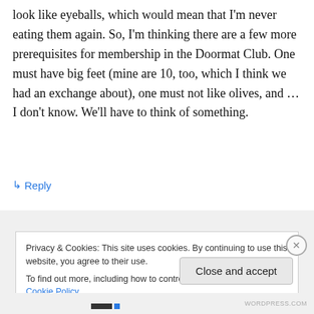look like eyeballs, which would mean that I'm never eating them again. So, I'm thinking there are a few more prerequisites for membership in the Doormat Club. One must have big feet (mine are 10, too, which I think we had an exchange about), one must not like olives, and … I don't know. We'll have to think of something.
↳ Reply
Privacy & Cookies: This site uses cookies. By continuing to use this website, you agree to their use.
To find out more, including how to control cookies, see here: Cookie Policy
Close and accept